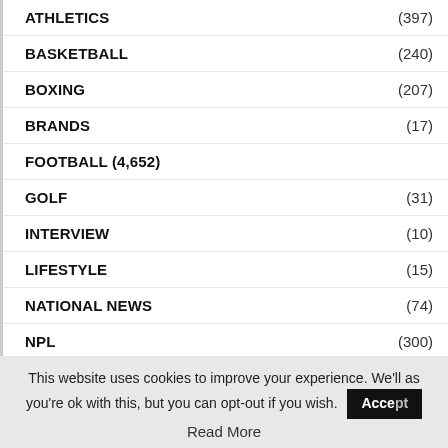ATHLETICS (397)
BASKETBALL (240)
BOXING (207)
BRANDS (17)
FOOTBALL (4,652)
GOLF (31)
INTERVIEW (10)
LIFESTYLE (15)
NATIONAL NEWS (74)
NPL (300)
SPORTS NEWS (830)
SPORTS UPDATE (5,316)
This website uses cookies to improve your experience. We'll as you're ok with this, but you can opt-out if you wish. Accept Read More